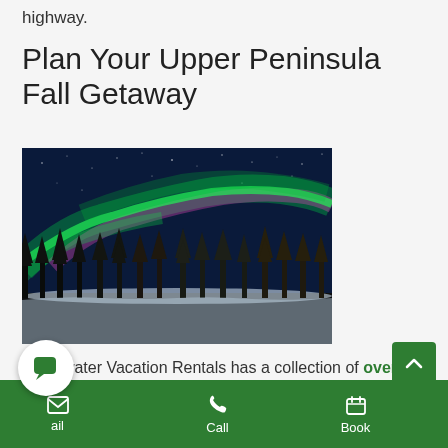highway.
Plan Your Upper Peninsula Fall Getaway
[Figure (photo): Northern lights (aurora borealis) over a snow-covered forest landscape at night with a starry dark blue sky]
Freshwater Vacation Rentals has a collection of over 30 cottages, cabins, and family homes ... choose ... ar Cabin ... six guests
Mail | Call | Book